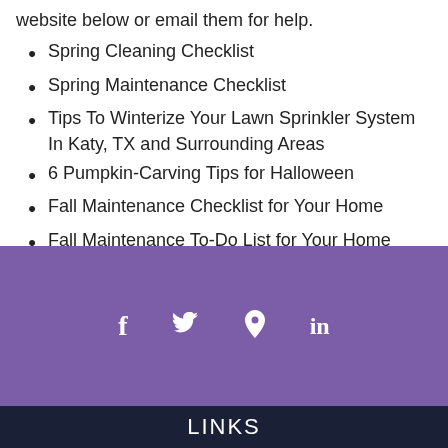website below or email them for help.
Spring Cleaning Checklist
Spring Maintenance Checklist
Tips To Winterize Your Lawn Sprinkler System In Katy, TX and Surrounding Areas
6 Pumpkin-Carving Tips for Halloween
Fall Maintenance Checklist for Your Home
Fall Maintenance To-Do List for Your Home
How You Can Be Prepared for Natural Disasters
[Figure (other): Purple footer bar with social media icons: Facebook (f), Twitter (bird), Location pin, LinkedIn (in)]
LINKS